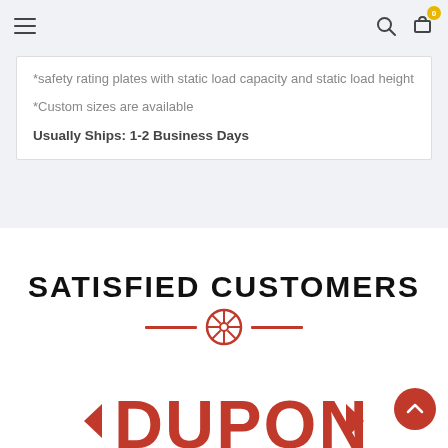Navigation bar with hamburger menu, search icon, and cart icon (badge: 0)
*safety rating plates with static load capacity and static load height
*Custom sizes are available
Usually Ships: 1-2 Business Days
SATISFIED CUSTOMERS
[Figure (logo): DuPont logo in red with left and right arrows, partially visible at bottom of page]
[Figure (illustration): Red circular wheel/gear icon with horizontal red lines on either side as a decorative divider]